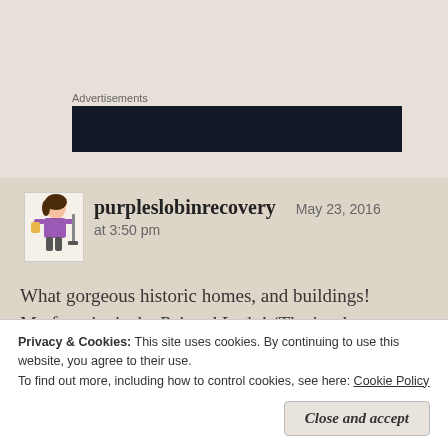Advertisements
[Figure (other): Dark advertisement banner block]
[Figure (illustration): Avatar illustration of a woman with shopping bags]
purpleslobinrecovery   May 23, 2016 at 3:50 pm
What gorgeous historic homes, and buildings! My favorite is the Painted Lady! (That's what we
Privacy & Cookies: This site uses cookies. By continuing to use this website, you agree to their use.
To find out more, including how to control cookies, see here: Cookie Policy
Close and accept
village!!